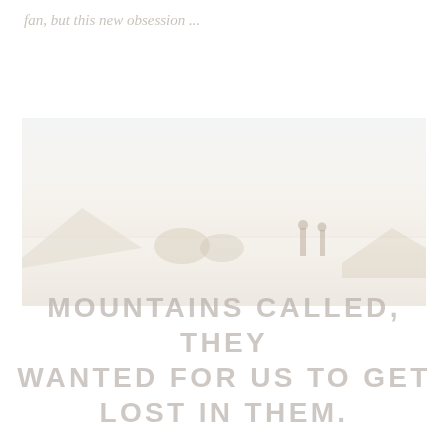fan, but this new obsession ...
[Figure (photo): A very faded, washed-out landscape photograph showing two people standing on a mountain trail or open terrain with mountains and sparse trees in the background. The image is extremely light and pale, almost washed out to white.]
MOUNTAINS CALLED, THEY WANTED FOR US TO GET LOST IN THEM.